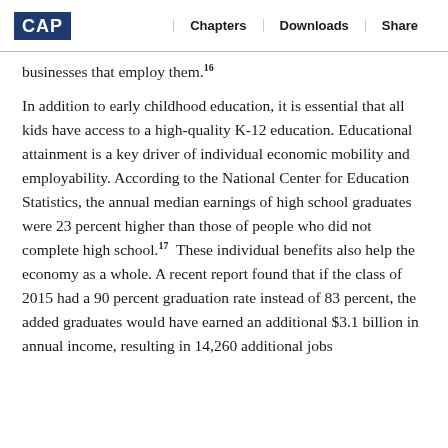CAP | Chapters | Downloads | Share
businesses that employ them.16
In addition to early childhood education, it is essential that all kids have access to a high-quality K-12 education. Educational attainment is a key driver of individual economic mobility and employability. According to the National Center for Education Statistics, the annual median earnings of high school graduates were 23 percent higher than those of people who did not complete high school.17 These individual benefits also help the economy as a whole. A recent report found that if the class of 2015 had a 90 percent graduation rate instead of 83 percent, the added graduates would have earned an additional $3.1 billion in annual income, resulting in 14,260 additional jobs